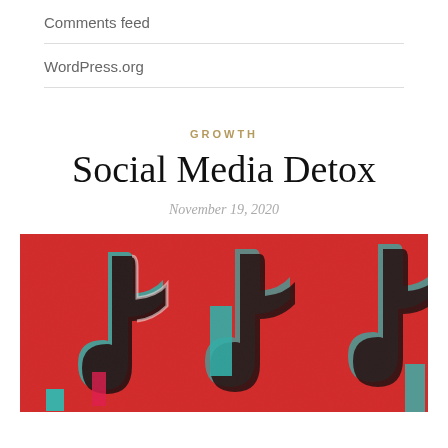Comments feed
WordPress.org
GROWTH
Social Media Detox
November 19, 2020
[Figure (photo): Close-up stylized graphic of TikTok logo repeated pattern on red background with black, white, and cyan/teal color accents]